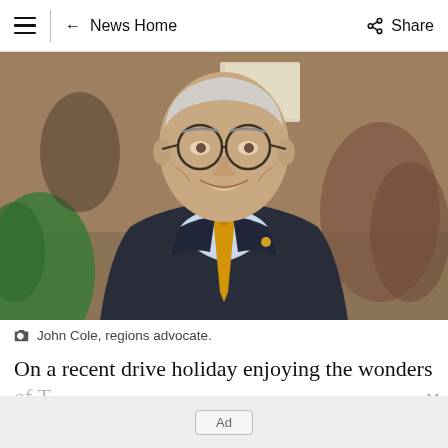≡  ← News Home    < Share
[Figure (photo): A smiling elderly man wearing glasses, a dark suit jacket, light blue shirt, and gold/yellow tie, photographed at an event with blurred background figures and a green-clothed person to the left.]
📷  John Cole, regions advocate.
On a recent drive holiday enjoying the wonders
Ad